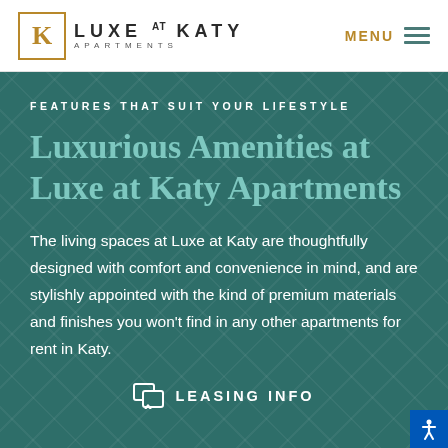[Figure (logo): Luxe at Katy Apartments logo with gold square K icon and text]
MENU
FEATURES THAT SUIT YOUR LIFESTYLE
Luxurious Amenities at Luxe at Katy Apartments
The living spaces at Luxe at Katy are thoughtfully designed with comfort and convenience in mind, and are stylishly appointed with the kind of premium materials and finishes you won't find in any other apartments for rent in Katy.
LEASING INFO